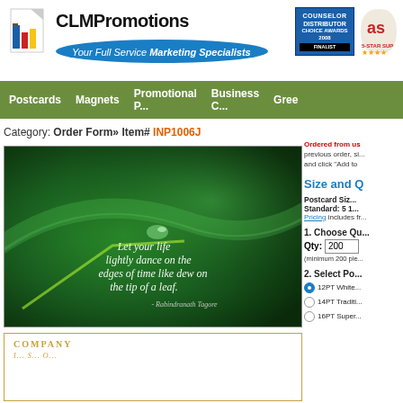[Figure (logo): CLMPromotions logo with blue building icon and tagline 'Your Full Service Marketing Specialists']
[Figure (logo): Counselor Distributor Choice Awards 2008 Finalist badge and ASI 5-Star Supplier badge]
Postcards | Magnets | Promotional | Business | Gre...
Category: Order Form» Item# INP1006J
[Figure (photo): Postcard product image - green leaf with water droplet and italic quote: Let your life lightly dance on the edges of time like dew on the tip of a leaf. - Rabindranath Tagore]
[Figure (photo): Thumbnail preview of postcard with COMPANY text visible]
Ordered from us before? To reorder from a previous order, simply select your previous order and click "Add to ..."
Size and Q...
Postcard Size Standard: 5 1...
Pricing includes fr...
1. Choose Qu...
Qty: 200
(minimum 200 pie...
2. Select Po...
12PT White ...
14PT Traditi...
16PT Super...